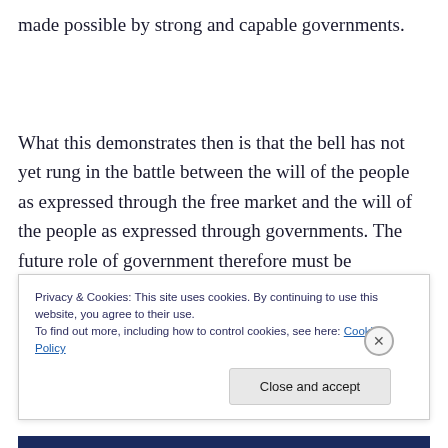made possible by strong and capable governments.
What this demonstrates then is that the bell has not yet rung in the battle between the will of the people as expressed through the free market and the will of the people as expressed through governments. The future role of government therefore must be conceived as a combination of the old and the new. Crowdsourcing certain
Privacy & Cookies: This site uses cookies. By continuing to use this website, you agree to their use.
To find out more, including how to control cookies, see here: Cookie Policy
Close and accept